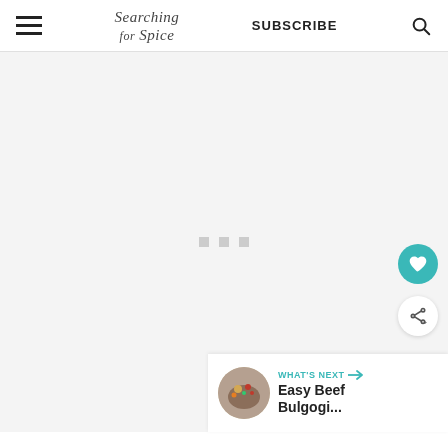Searching for Spice | SUBSCRIBE
[Figure (screenshot): Loading state of a webpage with three gray dots centered on a light gray background]
[Figure (illustration): Teal heart favorite button (FAB) floating on the right side]
[Figure (illustration): White share button (FAB) floating on the right side]
WHAT'S NEXT → Easy Beef Bulgogi...